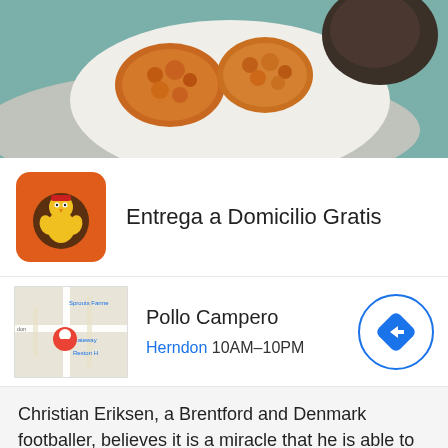[Figure (photo): Close-up photo of fried chicken pieces on a white plate with a gray cloth underneath, on a teal/blue background]
Entrega a Domicilio Gratis
Pollo Campero
Herndon 10AM–10PM
Christian Eriksen, a Brentford and Denmark footballer, believes it is a miracle that he is able to play football after falling while being f…
Sky Zone is where fun and active living meet.